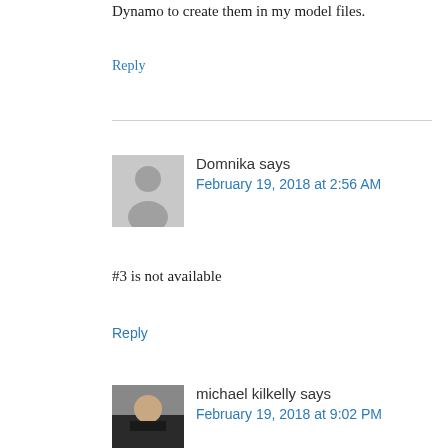Dynamo to create them in my model files.
Reply
Domnika says
February 19, 2018 at 2:56 AM
#3 is not available
Reply
michael kilkelly says
February 19, 2018 at 9:02 PM